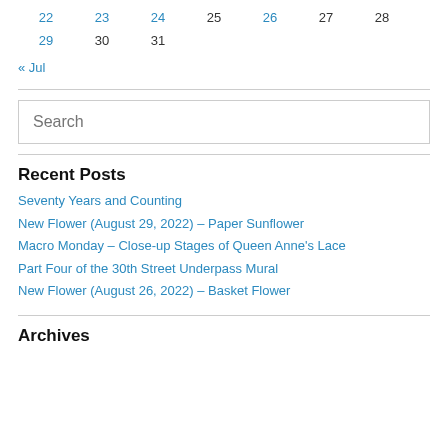| 22 | 23 | 24 | 25 | 26 | 27 | 28 |
| 29 | 30 | 31 |  |  |  |  |
« Jul
Search
Recent Posts
Seventy Years and Counting
New Flower (August 29, 2022) – Paper Sunflower
Macro Monday – Close-up Stages of Queen Anne's Lace
Part Four of the 30th Street Underpass Mural
New Flower (August 26, 2022) – Basket Flower
Archives